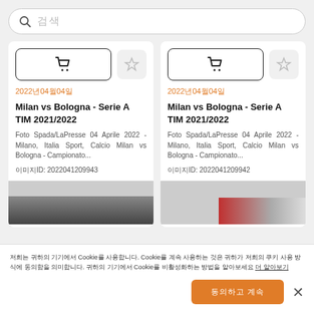검색
2022년04월04일
Milan vs Bologna - Serie A TIM 2021/2022
Foto Spada/LaPresse 04 Aprile 2022 - Milano, Italia Sport, Calcio Milan vs Bologna - Campionato...
이미지ID: 2022041209943
2022년04월04일
Milan vs Bologna - Serie A TIM 2021/2022
Foto Spada/LaPresse 04 Aprile 2022 - Milano, Italia Sport, Calcio Milan vs Bologna - Campionato...
이미지ID: 2022041209942
저희는 귀하의 기기에서 Cookie를 사용합니다. Cookie를 계속 사용하는 것은 귀하가 저희의 쿠키 사용 방식에 동의함을 의미합니다. 귀하의 기기에서 Cookie를 비활성화하는 방법을 알아보세요 더 알아보기
동의하고 계속